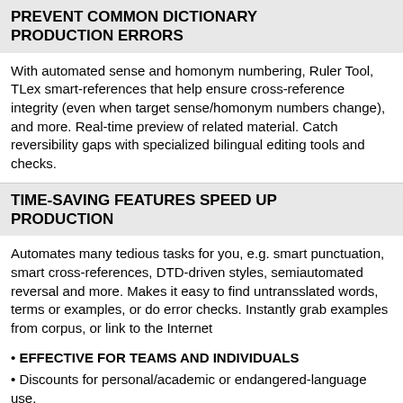PREVENT COMMON DICTIONARY PRODUCTION ERRORS
With automated sense and homonym numbering, Ruler Tool, TLex smart-references that help ensure cross-reference integrity (even when target sense/homonym numbers change), and more. Real-time preview of related material. Catch reversibility gaps with specialized bilingual editing tools and checks.
TIME-SAVING FEATURES SPEED UP PRODUCTION
Automates many tedious tasks for you, e.g. smart punctuation, smart cross-references, DTD-driven styles, semiautomated reversal and more. Makes it easy to find untransslated words, terms or examples, or do error checks. Instantly grab examples from corpus, or link to the Internet
• EFFECTIVE FOR TEAMS AND INDIVIDUALS
• Discounts for personal/academic or endangered-language use.
• STANDARDS-BASED: Unicode, XML, XLIFF, TMX, TBX,